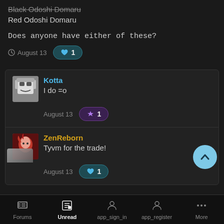Black Odoshi Domaru
Red Odoshi Domaru
Does anyone have either of these?
August 13  ♥ 1
Kotta
I do =o
August 13  🏆 1
ZenReborn
Tyvm for the trade!
August 13  ♥ 1
Forums  Unread  app_sign_in  app_register  More